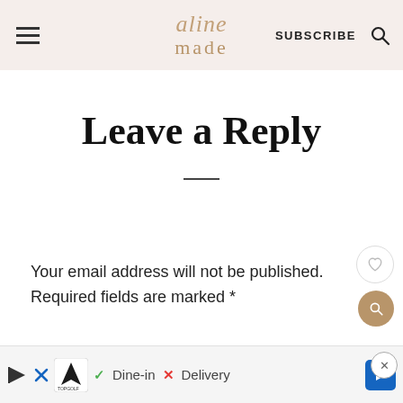aline made — SUBSCRIBE
Leave a Reply
Your email address will not be published. Required fields are marked *
Recipe Rating
[Figure (other): Advertisement banner: TopGolf — Dine-in, Delivery options with navigation arrow and close button]